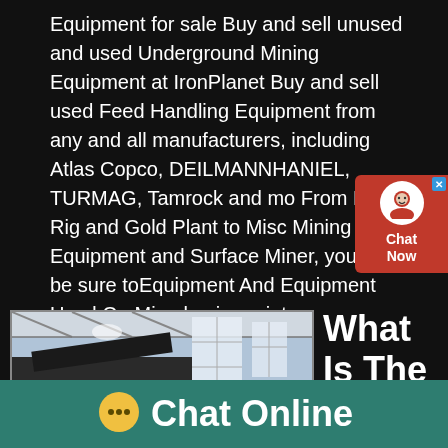Equipment for sale Buy and sell unused and used Underground Mining Equipment at IronPlanet Buy and sell used Feed Handling Equipment from any and all manufacturers, including Atlas Copco, DEILMANNHANIEL, TURMAG, Tamrock and mo From Drill Rig and Gold Plant to Misc Mining Equipment and Surface Miner, you can be sure toEquipment And Equipment Used On Mine koniecswiatap
[Figure (photo): Interior of an industrial building/warehouse with large windows and mining equipment machinery visible.]
What Is The
Chat Online